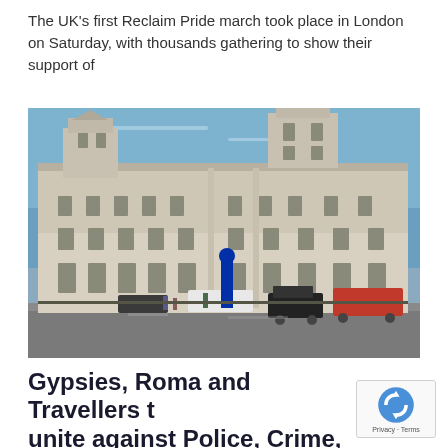The UK's first Reclaim Pride march took place in London on Saturday, with thousands gathering to show their support of
[Figure (photo): Photo of a large neoclassical government building in London (HM Treasury / Parliament Street area) under a blue sky, with vehicles and pedestrians on the street in front.]
Gypsies, Roma and Travellers t unite against Police, Crime,